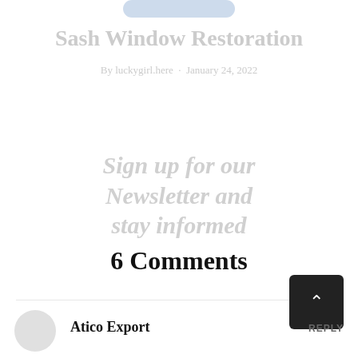[Figure (other): Faded blue pill-shaped button at top center, partially visible]
Sash Window Restoration
By luckygirl.here · January 24, 2022
Sign up for our Newsletter and stay informed
6 Comments
[Figure (other): Dark square back-to-top button with upward caret arrow]
[Figure (other): Circular avatar placeholder for commenter]
Atico Export
REPLY